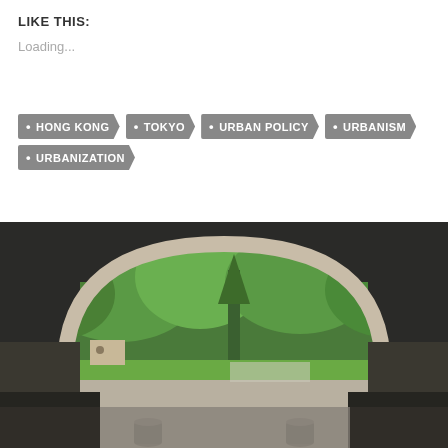LIKE THIS:
Loading...
HONG KONG
TOKYO
URBAN POLICY
URBANISM
URBANIZATION
[Figure (photo): View through a stone arch looking out onto a park with tall green trees, grass, and blue sky. The foreground shows dark shadows under the arch with two stone bollards at the bottom.]